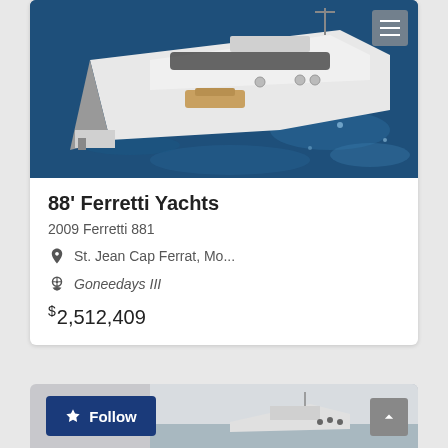[Figure (photo): Aerial view of a large white luxury motor yacht (Ferretti 881) on dark blue water, seen from above at an angle showing the deck and stern]
88' Ferretti Yachts
2009 Ferretti 881
St. Jean Cap Ferrat, Mo...
Goneedays III
$2,512,409
[Figure (photo): Partial view of another yacht listing card with a Follow button and partial image of a boat on water]